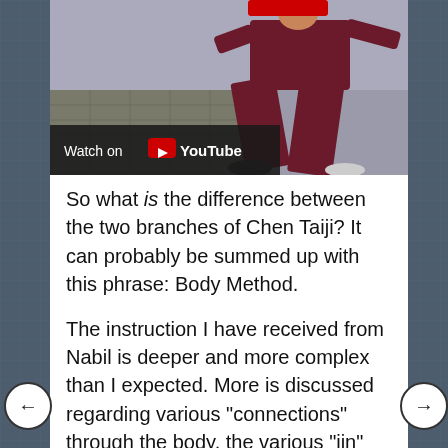[Figure (screenshot): YouTube video thumbnail showing a person practicing martial arts (Chen Taiji) stance, wearing dark red/maroon clothing, on a tiled outdoor area. A 'Watch on YouTube' overlay bar is visible at the bottom left of the video.]
So what is the difference between the two branches of Chen Taiji? It can probably be summed up with this phrase: Body Method.
The instruction I have received from Nabil is deeper and more complex than I expected. More is discussed regarding various "connections" through the body, the various "jin" that are happening in each movement, the Dan T'ien rotation, folding, openings and